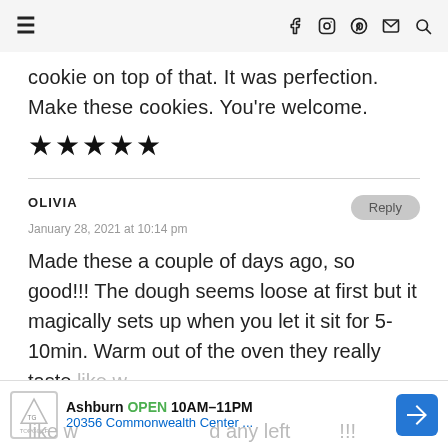≡ | f (facebook) (instagram) (pinterest) (mail) (search)
cookie on top of that. It was perfection. Make these cookies. You're welcome.
★★★★★
OLIVIA
January 28, 2021 at 10:14 pm
Made these a couple of days ago, so good!!! The dough seems loose at first but it magically sets up when you let it sit for 5-10min. Warm out of the oven they really taste like w... d any left...!!!
[Figure (screenshot): Advertisement banner: Topgolf Ashburn OPEN 10AM-11PM, 20356 Commonwealth Center..., with blue direction arrow icon]